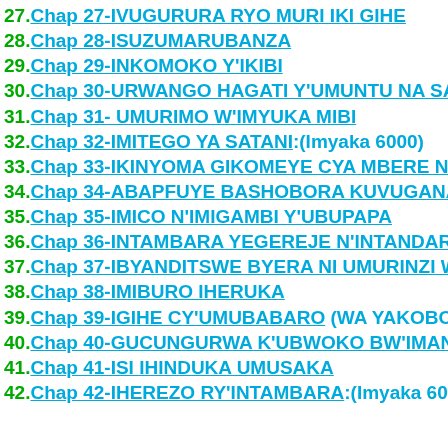27.Chap 27-IVUGURURA RYO MURI IKI GIHE
28.Chap 28-ISUZUMARUBANZA
29.Chap 29-INKOMOKO Y'IKIBI
30.Chap 30-URWANGO HAGATI Y'UMUNTU NA SATA...
31.Chap 31- UMURIMO W'IMYUKA MIBI
32.Chap 32-IMITEGO YA SATANI:(Imyaka 6000)
33.Chap 33-IKINYOMA GIKOMEYE CYA MBERE NA M...
34.Chap 34-ABAPFUYE BASHOBORA KUVUGANA N'A...
35.Chap 35-IMICO N'IMIGAMBI Y'UBUPAPA
36.Chap 36-INTAMBARA YEGEREJE N'INTANDARO YA...
37.Chap 37-IBYANDITSWE BYERA NI UMURINZI WAC...
38.Chap 38-IMIBURO IHERUKA
39.Chap 39-IGIHE CY'UMUBABARO (WA YAKOBO-202...
40.Chap 40-GUCUNGURWA K'UBWOKO BW'IMANA
41.Chap 41-ISI IHINDUKA UMUSAKA
42.Chap 42-IHEREZO RY'INTAMBARA:(Imyaka 6000)